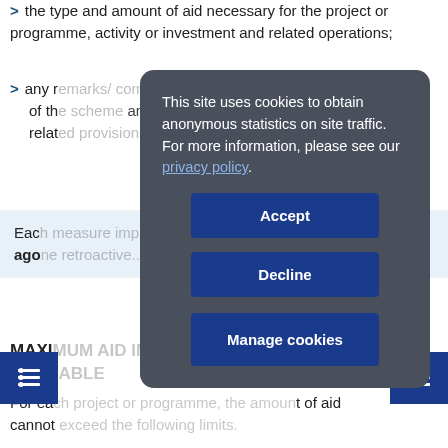> the type and amount of aid necessary for the project or programme, activity or investment and related operations;
> any r... comp... ificities of th... and relat...
Each ... ears ago ...
MAXI... AVAIL...
For ea... t of aid cannot...
The am... ne basis of the eligible costs of the project or initiative, up to the following caps:
[Figure (screenshot): Cookie consent overlay with Accept, Decline, and Manage cookies buttons on a dark grey rounded rectangle background, overlaying a government document page.]